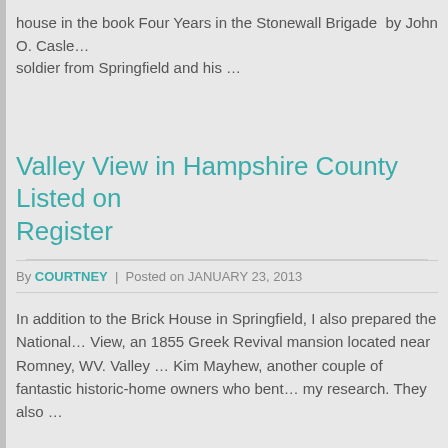house in the book Four Years in the Stonewall Brigade  by John O. Casle… soldier from Springfield and his …
Valley View in Hampshire County Listed on Register
By COURTNEY | Posted on JANUARY 23, 2013
In addition to the Brick House in Springfield, I also prepared the National… View, an 1855 Greek Revival mansion located near Romney, WV. Valley … Kim Mayhew, another couple of fantastic historic-home owners who bent… my research. They also …